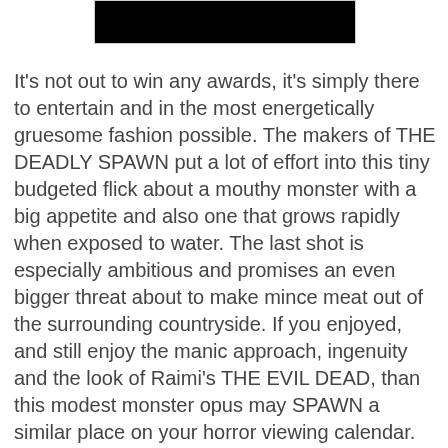[Figure (photo): Partial image at top of page, mostly dark/black]
It's not out to win any awards, it's simply there to entertain and in the most energetically gruesome fashion possible. The makers of THE DEADLY SPAWN put a lot of effort into this tiny budgeted flick about a mouthy monster with a big appetite and also one that grows rapidly when exposed to water. The last shot is especially ambitious and promises an even bigger threat about to make mince meat out of the surrounding countryside. If you enjoyed, and still enjoy the manic approach, ingenuity and the look of Raimi's THE EVIL DEAD, than this modest monster opus may SPAWN a similar place on your horror viewing calendar.